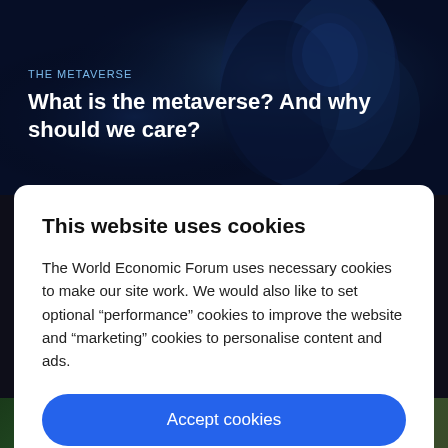[Figure (photo): Dark blue atmospheric background image depicting a futuristic metaverse scene with blue-lit figures]
THE METAVERSE
What is the metaverse? And why should we care?
This website uses cookies
The World Economic Forum uses necessary cookies to make our site work. We would also like to set optional “performance” cookies to improve the website and “marketing” cookies to personalise content and ads.
Accept cookies
Reject cookies
Cookie settings